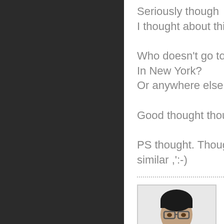Seriously though
I thought about this

Who doesn't go to a St Paddy's event
In New York?
Or anywhere else for that matter?

Good thought though

PS thought. Thought and though are weirdly similar ,':-)
[Figure (photo): Profile photo of a young man with glasses holding cards, wearing a dark jacket, white background]
GEORGELIM
I don't believe I found the music!
http://SOUNDCLOUD.COM/brian-h-kim/right-place-right-